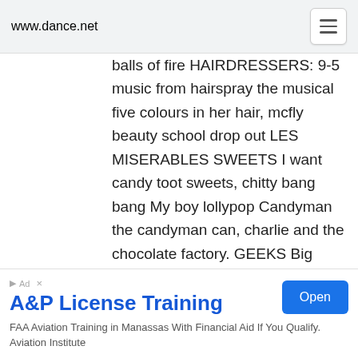www.dance.net
balls of fire HAIRDRESSERS: 9-5 music from hairspray the musical five colours in her hair, mcfly beauty school drop out LES MISERABLES SWEETS I want candy toot sweets, chitty bang bang My boy lollypop Candyman the candyman can, charlie and the chocolate factory. GEEKS Big bang theory worried about ray HIPPIES: Age of aquarius Let the sunshine Kum by yah Austin powers I want to be a hippy ARMY: the a-team chopper JAKYLL AND HYDE music from the musical PEARL HARBOUR: Music
[Figure (other): Advertisement banner: A&P License Training. FAA Aviation Training in Manassas With Financial Aid If You Qualify. Aviation Institute. Open button.]